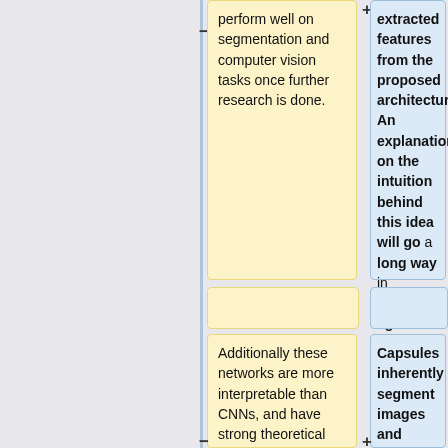perform well on segmentation and computer vision tasks once further research is done.
extracted features from the proposed architecture. An explanation on the intuition behind this idea will go a long way in arguing against CNN networks.
Additionally these networks are more interpretable than CNNs, and have strong theoretical reasoning for why they could
Capsules inherently segment images and learn a lower dimensional embedding in a new manner, which makes